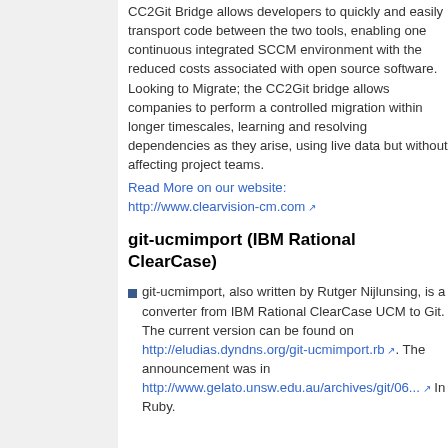CC2Git Bridge allows developers to quickly and easily transport code between the two tools, enabling one continuous integrated SCCM environment with the reduced costs associated with open source software. Looking to Migrate; the CC2Git bridge allows companies to perform a controlled migration within longer timescales, learning and resolving dependencies as they arise, using live data but without affecting project teams.
Read More on our website: http://www.clearvision-cm.com
git-ucmimport (IBM Rational ClearCase)
git-ucmimport, also written by Rutger Nijlunsing, is a converter from IBM Rational ClearCase UCM to Git. The current version can be found on http://eludias.dyndns.org/git-ucmimport.rb. The announcement was in http://www.gelato.unsw.edu.au/archives/git/06... In Ruby.